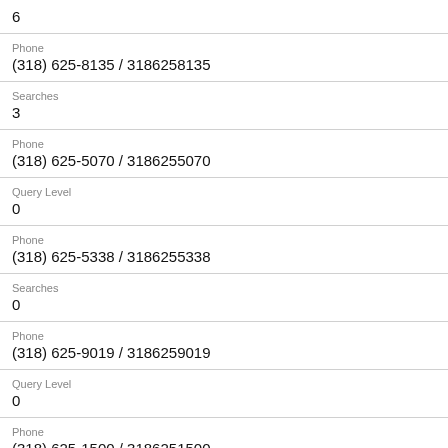6
Phone
(318) 625-8135 / 3186258135
Searches
3
Phone
(318) 625-5070 / 3186255070
Query Level
0
Phone
(318) 625-5338 / 3186255338
Searches
0
Phone
(318) 625-9019 / 3186259019
Query Level
0
Phone
(318) 625-1500 / 3186251500